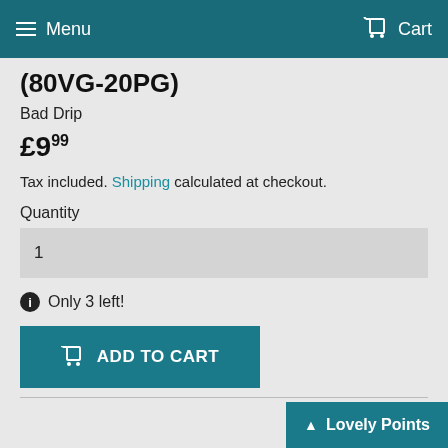Menu   Cart
(80VG-20PG)
Bad Drip
£9.99
Tax included. Shipping calculated at checkout.
Quantity
1
Only 3 left!
ADD TO CART
Lovely Points